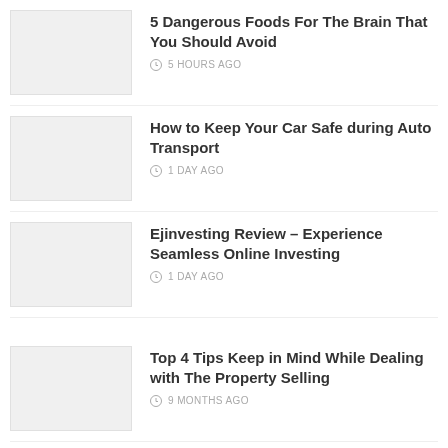5 Dangerous Foods For The Brain That You Should Avoid
5 HOURS AGO
How to Keep Your Car Safe during Auto Transport
1 DAY AGO
Ejinvesting Review – Experience Seamless Online Investing
1 DAY AGO
Top 4 Tips Keep in Mind While Dealing with The Property Selling
9 MONTHS AGO
Ways to Calculate a Fair Rent Price
1 WEEK AGO